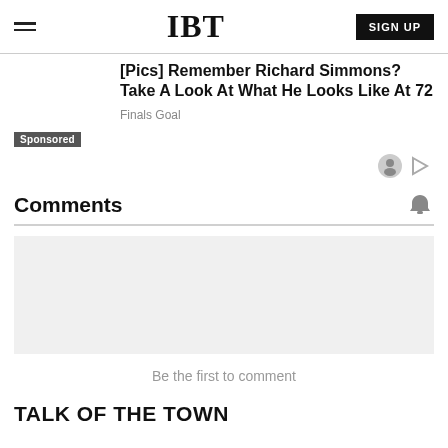IBT | SIGN UP
[Pics] Remember Richard Simmons? Take A Look At What He Looks Like At 72
Finals Goal
Sponsored
Comments
Be the first to comment
TALK OF THE TOWN